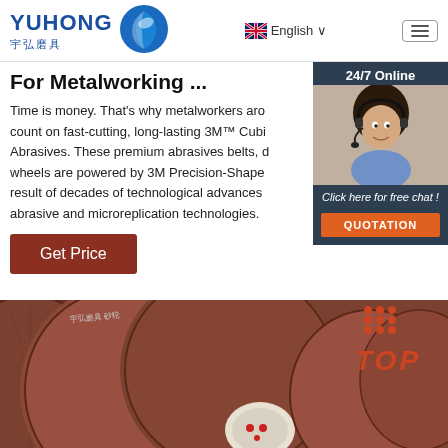YUHONG 宇弘磨具 | English | Menu
For Metalworking ...
Time is money. That's why metalworkers aro count on fast-cutting, long-lasting 3M™ Cubi Abrasives. These premium abrasives belts, d wheels are powered by 3M Precision-Shape result of decades of technological advances abrasive and microreplication technologies.
[Figure (photo): Customer service representative with headset, 24/7 Online chat widget with QUOTATION button]
Get Price
[Figure (photo): Close-up of abrasive grinding discs/wheels in dark reddish-brown color with Chinese text label, with TOP badge in orange-red]